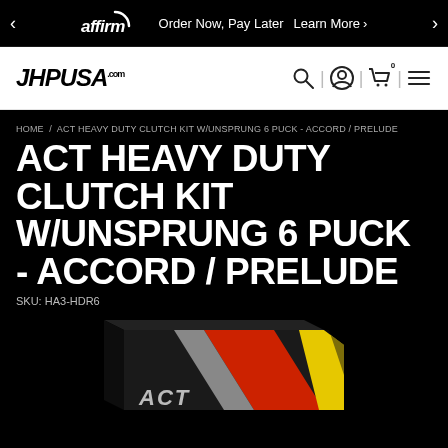affirm  Order Now, Pay Later  Learn More
JHPUSA
HOME / ACT HEAVY DUTY CLUTCH KIT W/UNSPRUNG 6 PUCK - ACCORD / PRELUDE
ACT HEAVY DUTY CLUTCH KIT W/UNSPRUNG 6 PUCK - ACCORD / PRELUDE
SKU: HA3-HDR6
[Figure (photo): ACT branded black product box with red, silver, and yellow diagonal racing stripes on the front, partially cropped at bottom of page]